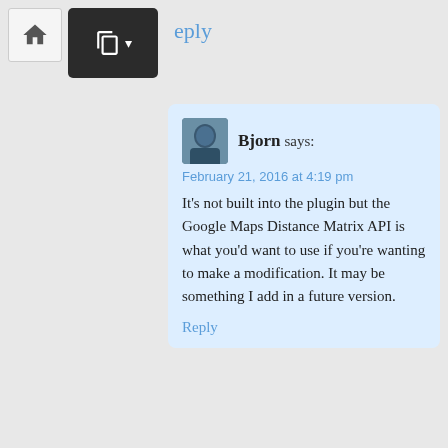Reply
Bjorn says:
February 21, 2016 at 4:19 pm
It's not built into the plugin but the Google Maps Distance Matrix API is what you'd want to use if you're wanting to make a modification. It may be something I add in a future version.
Reply
Gary says:
February 12, 2016 at 8:34 am
Hi Bjorn, I am using the auto geo location which prompts the user to accept its location. is there anyway to put a